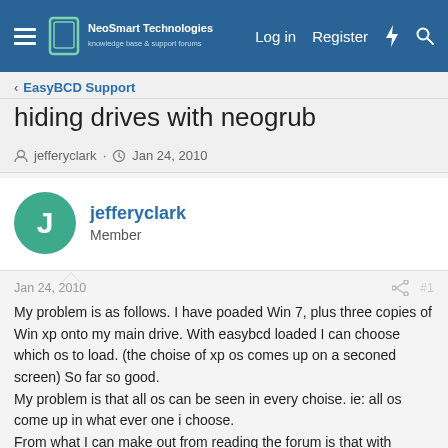NeoSmart Technologies — Log in  Register
EasyBCD Support
hiding drives with neogrub
jefferyclark · Jan 24, 2010
jefferyclark
Member
Jan 24, 2010  #1
My problem is as follows. I have poaded Win 7, plus three copies of Win xp onto my main drive. With easybcd loaded I can choose which os to load. (the choise of xp os comes up on a seconed screen) So far so good.
My problem is that all os can be seen in every choise. ie: all os come up in what ever one i choose.
From what I can make out from reading the forum is that with neogrub loaded into easybcd I can make what ever os I boot into, make the other os hide. My problem is that not being a computer wiz